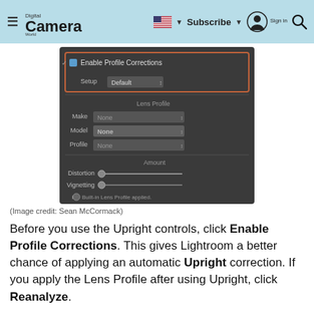Digital Camera World | Subscribe | Sign in
[Figure (screenshot): Lightroom Lens Corrections panel showing Enable Profile Corrections checkbox (checked and highlighted in orange), Setup dropdown set to Default, Lens Profile section with Make/Model/Profile dropdowns all set to None, Amount section with Distortion and Vignetting sliders, and a note reading 'Built-in Lens Profile applied.']
(Image credit: Sean McCormack)
Before you use the Upright controls, click Enable Profile Corrections. This gives Lightroom a better chance of applying an automatic Upright correction. If you apply the Lens Profile after using Upright, click Reanalyze.